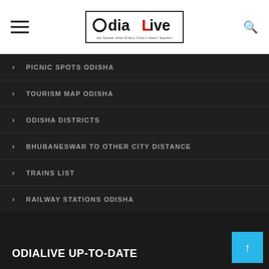OdiaLive
PICNIC SPOTS ODISHA
TOURISM MAP ODISHA
ODISHA DISTRICTS
BHUBANESWAR TO OTHER CITY DISTANCE
TRAINS LIST
RAILWAY STATIONS ODISHA
ODIALIVE UP-TO-DATE